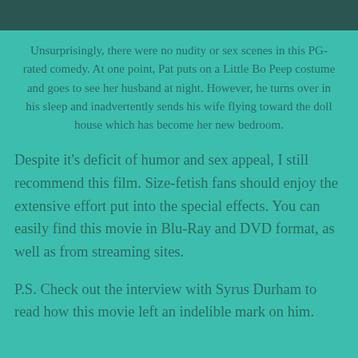[Figure (photo): Cropped image at the top of the page, partially visible, appears to be a scene from a movie.]
Unsurprisingly, there were no nudity or sex scenes in this PG-rated comedy. At one point, Pat puts on a Little Bo Peep costume and goes to see her husband at night. However, he turns over in his sleep and inadvertently sends his wife flying toward the doll house which has become her new bedroom.
Despite it's deficit of humor and sex appeal, I still recommend this film. Size-fetish fans should enjoy the extensive effort put into the special effects. You can easily find this movie in Blu-Ray and DVD format, as well as from streaming sites.
P.S. Check out the interview with Syrus Durham to read how this movie left an indelible mark on him.